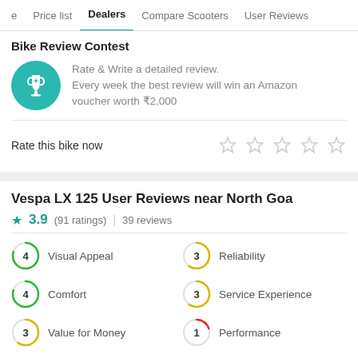Price list | Dealers | Compare Scooters | User Reviews
Bike Review Contest
Rate & Write a detailed review. Every week the best review will win an Amazon voucher worth ₹2,000
Rate this bike now
Vespa LX 125 User Reviews near North Goa
★ 3.9 (91 ratings) | 39 reviews
4 Visual Appeal
3 Reliability
4 Comfort
3 Service Experience
3 Value for Money
1 Performance